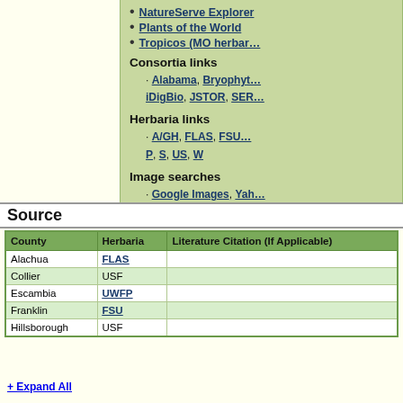NatureServe Explorer
Plants of the World
Tropicos (MO herbar…
Consortia links
Alabama, Bryophyt… iDigBio, JSTOR, SER…
Herbaria links
A/GH, FLAS, FSU… P, S, US, W
Image searches
Google Images, Yah…
Source
| County | Herbaria | Literature Citation (If Applicable) |
| --- | --- | --- |
| Alachua | FLAS |  |
| Collier | USF |  |
| Escambia | UWFP |  |
| Franklin | FSU |  |
| Hillsborough | USF |  |
+ Expand All